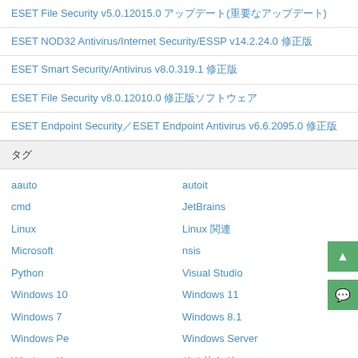ESET File Security v5.0.12015.0 アップデート(重要なアップデート)
ESET NOD32 Antivirus/Internet Security/ESSP v14.2.24.0 修正版
ESET Smart Security/Antivirus v8.0.319.1 修正版
ESET File Security v8.0.12010.0 修正版ソフトウェア
ESET Endpoint Security／ESET Endpoint Antivirus v6.6.2095.0 修正版
タグ
aauto
autoit
cmd
JetBrains
Linux
Linux 関連
Microsoft
nsis
Python
Visual Studio
Windows 10
Windows 11
Windows 7
Windows 8.1
Windows Pe
Windows Server
Windows Xp
その他タグ